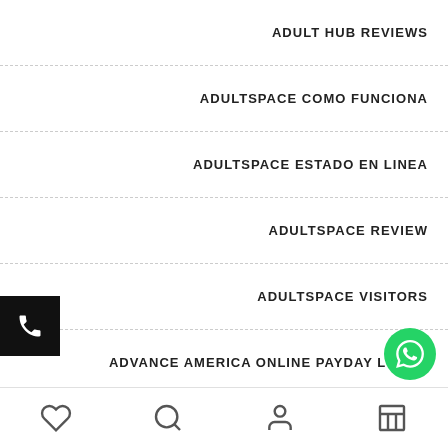ADULT HUB REVIEWS
ADULTSPACE COMO FUNCIONA
ADULTSPACE ESTADO EN LINEA
ADULTSPACE REVIEW
ADULTSPACE VISITORS
ADVANCE AMERICA ONLINE PAYDAY LOANS
ADVANCE CASH LOAN PAYDAY
ADVANCE PAYDAY LO...
Navigation icons: heart, search, person, store